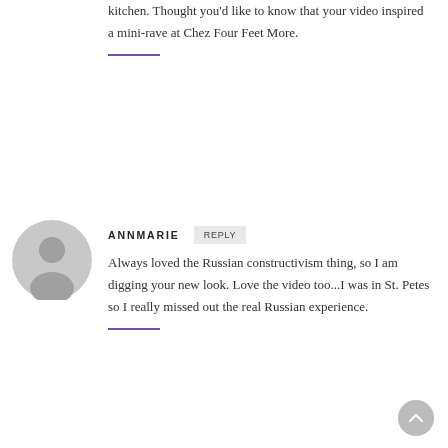kitchen. Thought you'd like to know that your video inspired a mini-rave at Chez Four Feet More.
ANNMARIE
REPLY
Always loved the Russian constructivism thing, so I am digging your new look. Love the video too...I was in St. Petes so I really missed out the real Russian experience.
SUZANNE
REPLY
love the new look.
Chickadee did not like the video. It reminded her of Russia. 🙁